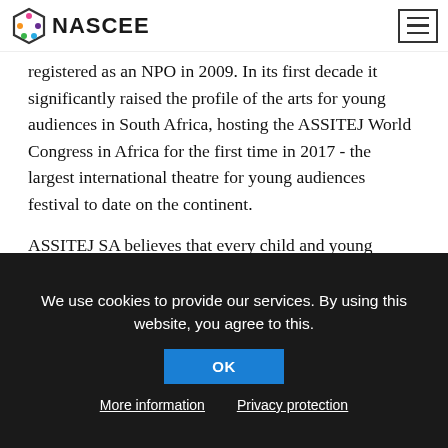NASCEE — navigation bar with logo
Young People), which works in around 100 countries and was founded in 1965 in Paris. ASSITEJ SA was established in July 2007 and registered as an NPO in 2009. In its first decade it significantly raised the profile of the arts for young audiences in South Africa, hosting the ASSITEJ World Congress in Africa for the first time in 2017 - the largest international theatre for young audiences festival to date on the continent.
ASSITEJ SA believes that every child and young person in our country deserves access to high quality arts, especially designed for them. and has reached over 276 609 beneficiaries directly, and 616 272 indirect beneficiaries. These beneficiaries are largely
We use cookies to provide our services. By using this website, you agree to this.
OK
More information
Privacy protection